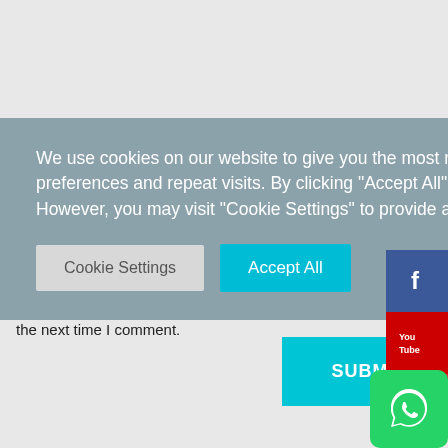We use cookies on our website to give you the most relevant experience by remembering your preferences and repeat visits. By clicking "Accept All", you consent to the use of ALL the cookies. However, you may visit "Cookie Settings" to provide a controlled consent.
Cookie Settings | Accept All
the next time I comment.
SUBMIT COMMENT
[Figure (infographic): Social media icons on the right side: Facebook (blue), YouTube (red), Instagram (gradient pink/red), and WhatsApp (green) at bottom right]